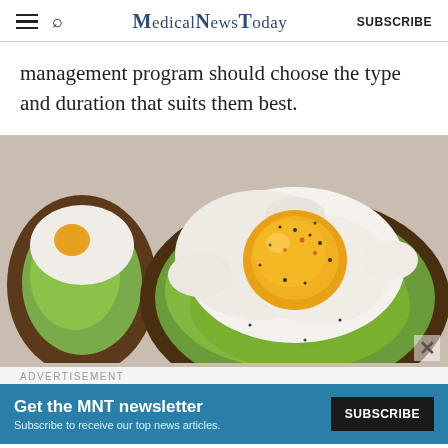MedicalNewsToday SUBSCRIBE
management program should choose the type and duration that suits them best.
[Figure (photo): Close-up photo of avocado toast topped with a fried egg, seasoned with black pepper and spices, on a baking sheet.]
ADVERTISEMENT
Get the MNT newsletter Subscribe to receive our top news articles. SUBSCRIBE